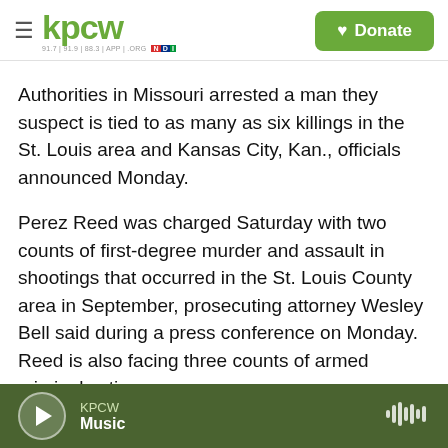KPCW — hamburger menu, logo, Donate button
Authorities in Missouri arrested a man they suspect is tied to as many as six killings in the St. Louis area and Kansas City, Kan., officials announced Monday.
Perez Reed was charged Saturday with two counts of first-degree murder and assault in shootings that occurred in the St. Louis County area in September, prosecuting attorney Wesley Bell said during a press conference on Monday. Reed is also facing three counts of armed criminal action.
Authorities say Reed shot a man in the St. Louis
KPCW Music — player bar